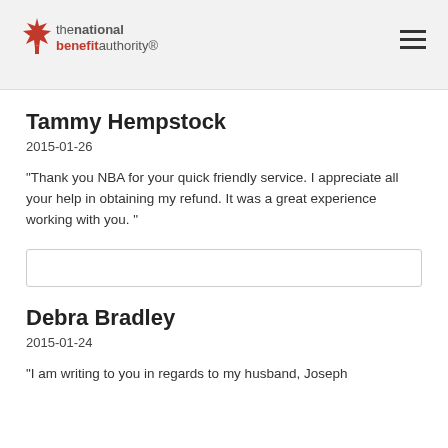the national benefit authority
Tammy Hempstock
2015-01-26
"Thank you NBA for your quick friendly service. I appreciate all your help in obtaining my refund. It was a great experience working with you. "
Debra Bradley
2015-01-24
"I am writing to you in regards to my husband, Joseph